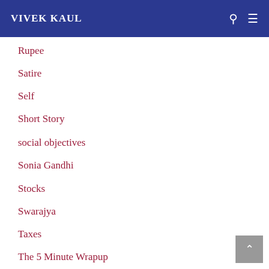VIVEK KAUL
Rupee
Satire
Self
Short Story
social objectives
Sonia Gandhi
Stocks
Swarajya
Taxes
The 5 Minute Wrapup
The Asian Age
The Corporate Dossier